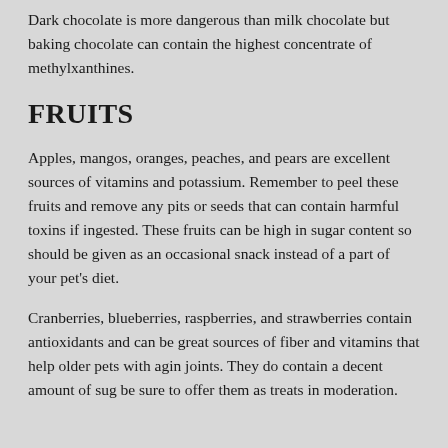Dark chocolate is more dangerous than milk chocolate but baking chocolate can contain the highest concentrate of methylxanthines.
FRUITS
Apples, mangos, oranges, peaches, and pears are excellent sources of vitamins and potassium. Remember to peel these fruits and remove any pits or seeds that can contain harmful toxins if ingested. These fruits can be high in sugar content so should be given as an occasional snack instead of a part of your pet's diet.
Cranberries, blueberries, raspberries, and strawberries contain antioxidants and can be great sources of fiber and vitamins that help older pets with aging joints. They do contain a decent amount of sugar so be sure to offer them as treats in moderation.